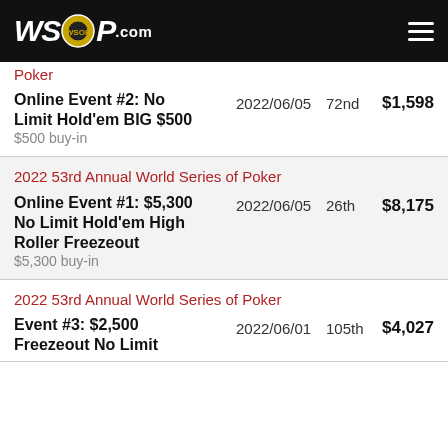WSOP.com
Poker
| Event | Date | Place | Prize |
| --- | --- | --- | --- |
| Online Event #2: No Limit Hold'em BIG $500
$500 buy-in | 2022/06/05 | 72nd | $1,598 |
| 2022 53rd Annual World Series of Poker
Online Event #1: $5,300 No Limit Hold'em High Roller Freezeout
$5,300 buy-in | 2022/06/05 | 26th | $8,175 |
| 2022 53rd Annual World Series of Poker
Event #3: $2,500 Freezeout No Limit Hold'em... | 2022/06/01 | 105th | $4,027 |